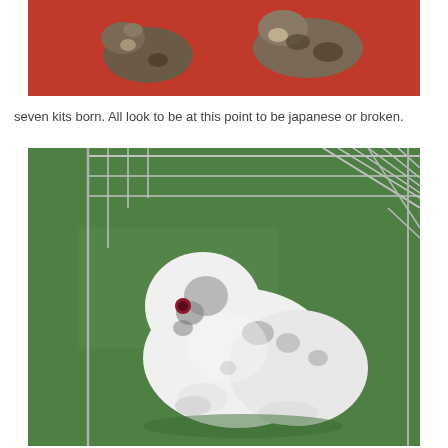[Figure (photo): Photo of newborn rabbit kits on a red surface, partially visible at top of page]
seven kits born.  All look to  be at this point to be japanese or broken.
[Figure (photo): Photo of a white rabbit with dark spots sitting on green grass inside a wire pen/enclosure]